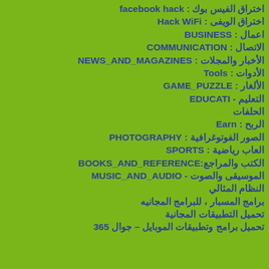اختراق الفيس بوك : facebook hack
اختراق الويفى : Hack WiFi
اعمال : BUSINESS
الاتصال : COMMUNICATION
الأخبار والمجلات : NEWS_AND_MAGAZINES
الأدوات : Tools
الألغار : GAME_PUZZLE
التعليم - EDUCATI
الحلفات
الربح : Earn
الصور الفوتوغرافية : PHOTOGRAPHY
العاب رياضية : SPORTS
الكتب والمراجع:BOOKS_AND_REFERENCE
الموسيقى والصوت - MUSIC_AND_AUDIO
النظام المثالي
برامج المسبار ، للبرامج المجانيه
تحميل التطبيقات المجانية
تحميل برامج وتطبيقات الموبايل – جوال 365